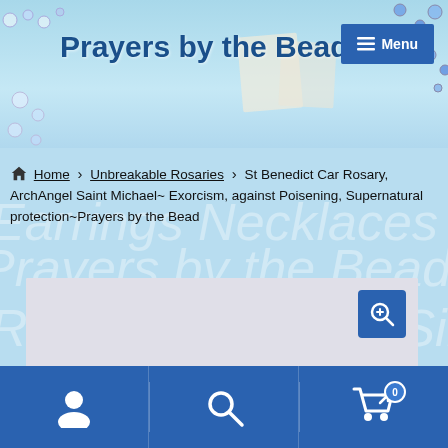[Figure (screenshot): Website header banner for 'Prayers by the Bead' with blue background, rosary beads imagery, decorative religious images, and a Menu button in the top right corner]
Home › Unbreakable Rosaries › St Benedict Car Rosary, ArchAngel Saint Michael~ Exorcism, against Poisening, Supernatural protection~Prayers by the Bead
[Figure (photo): Product image placeholder area (light gray/lavender rectangle) with a blue zoom/search button in the top right corner]
[Figure (screenshot): Bottom navigation bar with blue background containing three icons: user/account icon, search icon, and shopping cart icon with badge showing 0]